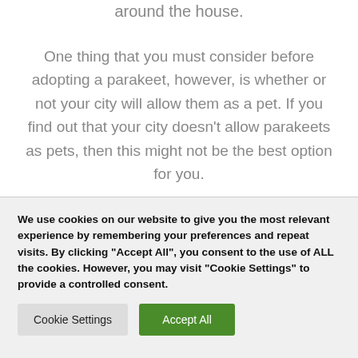around the house.
One thing that you must consider before adopting a parakeet, however, is whether or not your city will allow them as a pet. If you find out that your city doesn't allow parakeets as pets, then this might not be the best option for you.
We use cookies on our website to give you the most relevant experience by remembering your preferences and repeat visits. By clicking "Accept All", you consent to the use of ALL the cookies. However, you may visit "Cookie Settings" to provide a controlled consent.